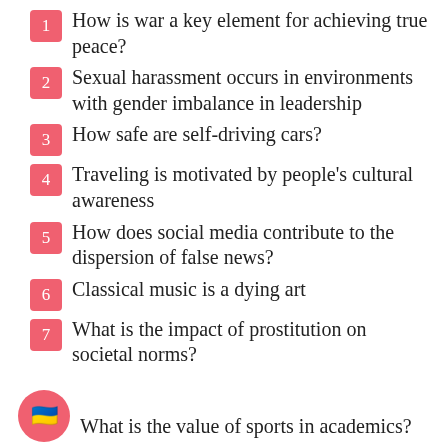1  How is war a key element for achieving true peace?
2  Sexual harassment occurs in environments with gender imbalance in leadership
3  How safe are self-driving cars?
4  Traveling is motivated by people's cultural awareness
5  How does social media contribute to the dispersion of false news?
6  Classical music is a dying art
7  What is the impact of prostitution on societal norms?
🇺🇦  What is the value of sports in academics?